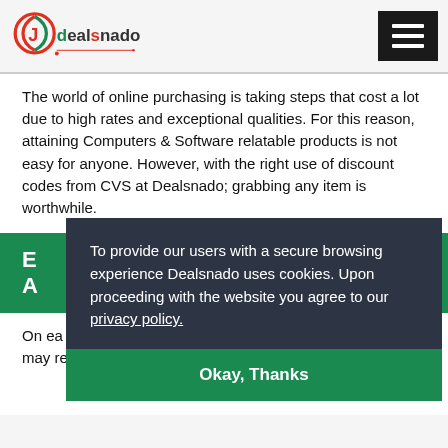Dealsnado
The world of online purchasing is taking steps that cost a lot due to high rates and exceptional qualities. For this reason, attaining Computers & Software relatable products is not easy for anyone. However, with the right use of discount codes from CVS at Dealsnado; grabbing any item is worthwhile.
E... A...
On... ea... re... tre... vouchers and freebies for online ordering. You may reside...
To provide our users with a secure browsing experience Dealsnado uses cookies. Upon proceeding with the website you agree to our privacy policy.
Okay, Thanks